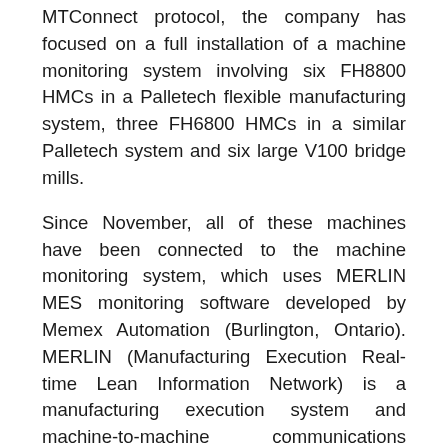MTConnect protocol, the company has focused on a full installation of a machine monitoring system involving six FH8800 HMCs in a Palletech flexible manufacturing system, three FH6800 HMCs in a similar Palletech system and six large V100 bridge mills.
Since November, all of these machines have been connected to the machine monitoring system, which uses MERLIN MES monitoring software developed by Memex Automation (Burlington, Ontario). MERLIN (Manufacturing Execution Real-time Lean Information Network) is a manufacturing execution system and machine-to-machine communications platform. Memex has been providing network connectivity, DNC software and machine monitoring systems since 1992 and has offered MTConnect-compatible versions of its MERLIN machine monitoring and manufacturing execution systems since 2010.
“Rather than offering an expensive, custom installation for every client, we’ve produced a packaged, machine-to-